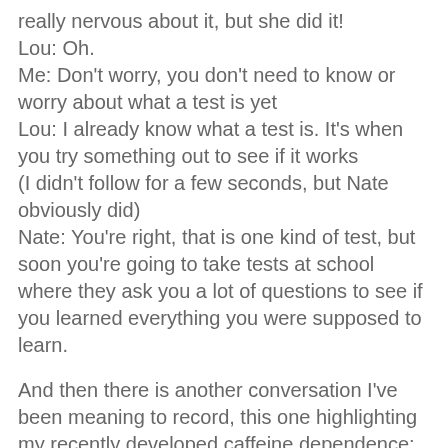really nervous about it, but she did it!
Lou: Oh.
Me: Don't worry, you don't need to know or worry about what a test is yet
Lou: I already know what a test is. It's when you try something out to see if it works
(I didn't follow for a few seconds, but Nate obviously did)
Nate: You're right, that is one kind of test, but soon you're going to take tests at school where they ask you a lot of questions to see if you learned everything you were supposed to learn.
And then there is another conversation I've been meaning to record, this one highlighting my recently developed caffeine dependence:
Cora: Mom, let's read books
Me: Okay, we can, but first can I make some coffee?
(10 minutes later) Cora: moooommmmm, let's read books now
Me: Sorry Bean, I'm still working on making [aero press] coffee [with steamed, frothed milk]. It's a little bit more